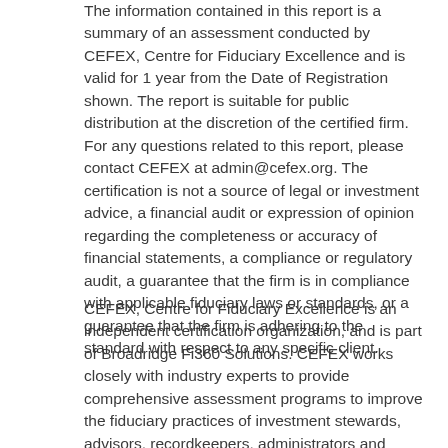The information contained in this report is a summary of an assessment conducted by CEFEX, Centre for Fiduciary Excellence and is valid for 1 year from the Date of Registration shown. The report is suitable for public distribution at the discretion of the certified firm. For any questions related to this report, please contact CEFEX at admin@cefex.org. The certification is not a source of legal or investment advice, a financial audit or expression of opinion regarding the completeness or accuracy of financial statements, a compliance or regulatory audit, a guarantee that the firm is in compliance with applicable fiduciary laws or standards, or a guarantee that the firm is adhering to the standard with respect to any specific client.
CEFEX, Centre for Fiduciary Excellence is an independent certification organization, and is part of Broadridge Fi360 Solutions. CEFEX works closely with industry experts to provide comprehensive assessment programs to improve the fiduciary practices of investment stewards, advisors, recordkeepers, administrators and managers. Broadridge Fi360 Solutions is a fiduciary education, training and technology company and helps financial intermediaries